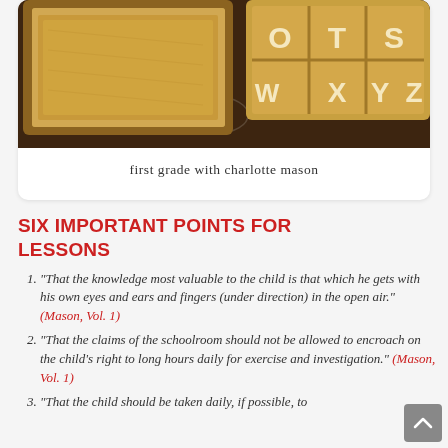[Figure (photo): Photo of educational materials: a wooden tray with sand/grain and a wooden letter tray showing letters W, X, Y, Z and others, on a dark surface.]
first grade with charlotte mason
SIX IMPORTANT POINTS FOR LESSONS
"That the knowledge most valuable to the child is that which he gets with his own eyes and ears and fingers (under direction) in the open air." (Mason, Vol. 1)
"That the claims of the schoolroom should not be allowed to encroach on the child's right to long hours daily for exercise and investigation." (Mason, Vol. 1)
"That the child should be taken daily, if possible, to